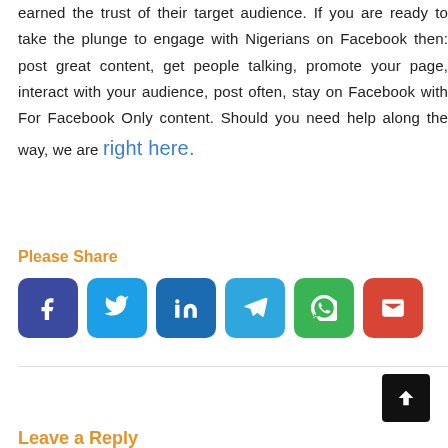earned the trust of their target audience. If you are ready to take the plunge to engage with Nigerians on Facebook then: post great content, get people talking, promote your page, interact with your audience, post often, stay on Facebook with For Facebook Only content. Should you need help along the way, we are right here.
Please Share
[Figure (other): Six social share buttons: Facebook (dark blue), Twitter (light blue), LinkedIn (medium blue), Telegram (cyan blue), WhatsApp (green), Email (red)]
[Figure (other): Black scroll-to-top button with upward arrow icon]
Leave a Reply